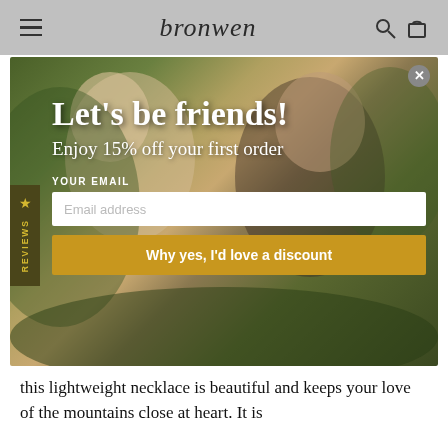bronwen
[Figure (screenshot): Modal popup overlay on Bronwen jewelry website showing two women laughing outdoors with jewelry, containing promotional text 'Let's be friends! Enjoy 15% off your first order', email input field, and a yellow CTA button 'Why yes, I'd love a discount']
Let's be friends!
Enjoy 15% off your first order
YOUR EMAIL
Email address
Why yes, I'd love a discount
this lightweight necklace is beautiful and keeps your love of the mountains close at heart. It is